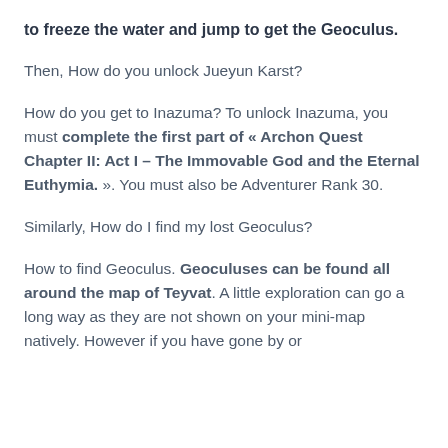to freeze the water and jump to get the Geoculus.
Then, How do you unlock Jueyun Karst?
How do you get to Inazuma? To unlock Inazuma, you must complete the first part of « Archon Quest Chapter II: Act I – The Immovable God and the Eternal Euthymia. ». You must also be Adventurer Rank 30.
Similarly, How do I find my lost Geoculus?
How to find Geoculus. Geoculuses can be found all around the map of Teyvat. A little exploration can go a long way as they are not shown on your mini-map natively. However if you have gone by or